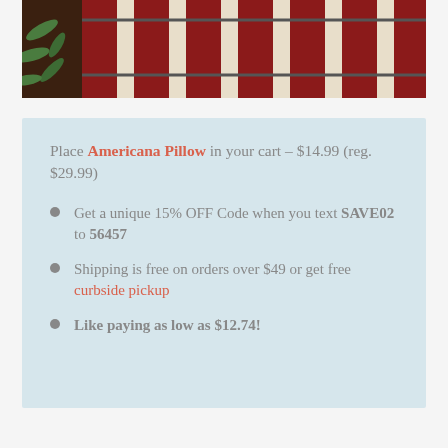[Figure (photo): Photo of red and cream striped pillow with green plant leaves visible, placed on a dark wooden surface. Partial view showing top of image.]
Place Americana Pillow in your cart – $14.99 (reg. $29.99)
Get a unique 15% OFF Code when you text SAVE02 to 56457
Shipping is free on orders over $49 or get free curbside pickup
Like paying as low as $12.74!